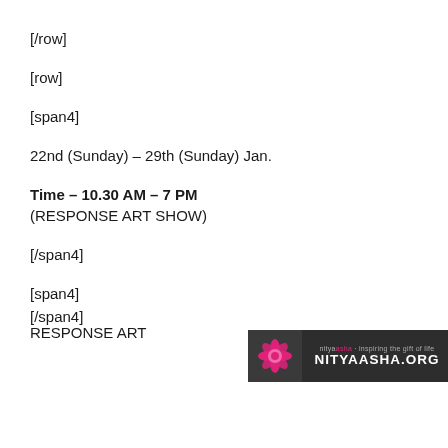[/row]
[row]
[span4]
22nd (Sunday) – 29th (Sunday) Jan.
Time – 10.30 AM – 7 PM
(RESPONSE ART SHOW)
[/span4]
[span4]
[Figure (logo): Nitya Asha logo badge with pink lotus flower icon on dark background with text NITYAASHA.ORG]
RESPONSE ART
[/span4]